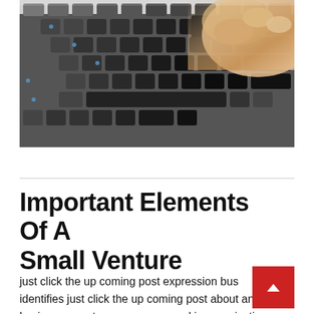[Figure (photo): Close-up photograph of a laptop keyboard with a hand pressing the Enter/Backspace key area. The keyboard keys are dark grey/black, and the hand is reaching in from the upper right.]
Important Elements Of A Small Venture
just click the up coming post expression business identifies just click the up coming post about any business or entrepreneur engaged in organization.